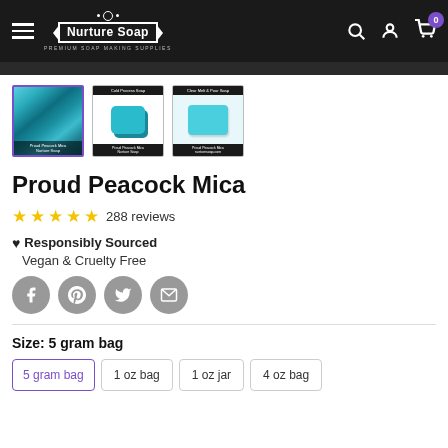Nurture Soap - Premium Soap Making Supplies
[Figure (screenshot): Three product thumbnail images of Proud Peacock Mica: first shows marbled teal texture (active, purple border), second shows a teal soap block on dark background, third shows flat teal soap on light background]
Proud Peacock Mica
★★★★★ 288 reviews
♥ Responsibly Sourced
Vegan & Cruelty Free
Social share icons: Facebook, Pinterest, Twitter, Email
Size:  5 gram bag
Size options: 5 gram bag (selected), 1 oz bag, 1 oz jar, 4 oz bag